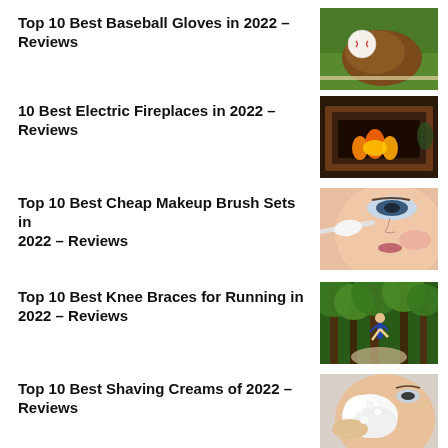Top 10 Best Baseball Gloves in 2022 – Reviews
[Figure (photo): Baseball glove with baseball on grass]
10 Best Electric Fireplaces in 2022 – Reviews
[Figure (photo): Electric fireplace with flames in wooden surround]
Top 10 Best Cheap Makeup Brush Sets in 2022 – Reviews
[Figure (photo): Woman applying makeup with brush]
Top 10 Best Knee Braces for Running in 2022 – Reviews
[Figure (photo): Person running on forest trail]
Top 10 Best Shaving Creams of 2022 – Reviews
[Figure (photo): Man applying shaving cream to face]